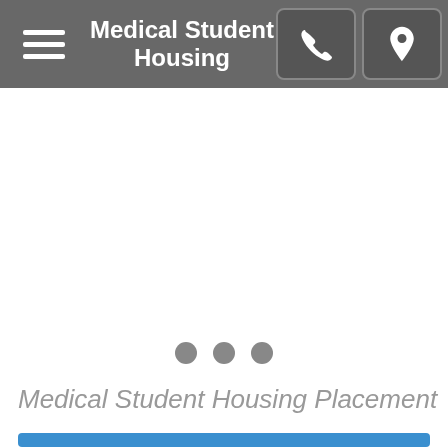Medical Student Housing
[Figure (screenshot): White image slider area (empty/loading)]
• • •
Medical Student Housing Placement